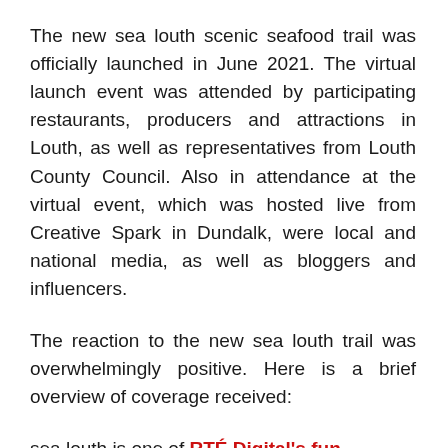The new sea louth scenic seafood trail was officially launched in June 2021. The virtual launch event was attended by participating restaurants, producers and attractions in Louth, as well as representatives from Louth County Council. Also in attendance at the virtual event, which was hosted live from Creative Spark in Dundalk, were local and national media, as well as bloggers and influencers.
The reaction to the new sea louth trail was overwhelmingly positive. Here is a brief overview of coverage received:
sea louth is one of RTÉ Digital's fun…